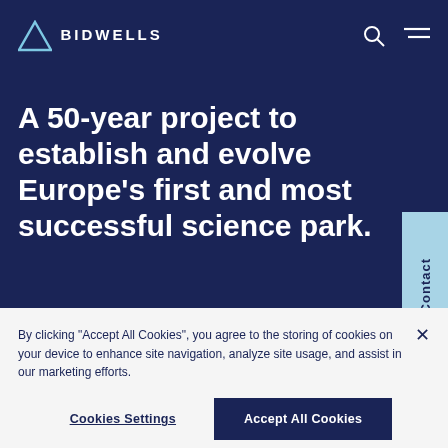[Figure (logo): Bidwells logo — a light blue triangle icon followed by the text BIDWELLS in white capital letters on a dark navy background]
A 50-year project to establish and evolve Europe's first and most successful science park.
Contact
By clicking "Accept All Cookies", you agree to the storing of cookies on your device to enhance site navigation, analyze site usage, and assist in our marketing efforts.
Cookies Settings
Accept All Cookies